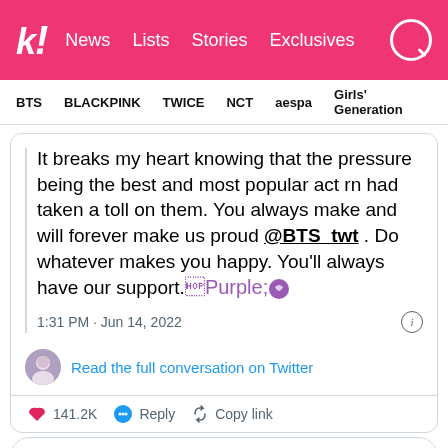k! News Lists Stories Exclusives
BTS BLACKPINK TWICE NCT aespa Girls' Generation
It breaks my heart knowing that the pressure being the best and most popular act rn had taken a toll on them. You always make and will forever make us proud @BTS_twt . Do whatever makes you happy. You'll always have our support. 💜
1:31 PM · Jun 14, 2022
Read the full conversation on Twitter
141.2K   Reply   Copy link
Read 152 replies